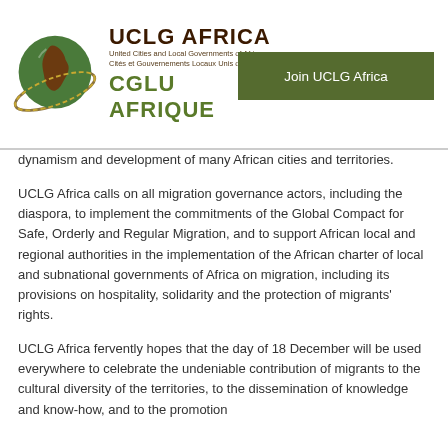[Figure (logo): UCLG Africa logo with globe icon showing Africa, text reads UCLG AFRICA, United Cities and Local Governments of Africa, Cités et Gouvernements Locaux Unis d'Afrique, CGLU AFRIQUE]
Join UCLG Africa
dynamism and development of many African cities and territories.
UCLG Africa calls on all migration governance actors, including the diaspora, to implement the commitments of the Global Compact for Safe, Orderly and Regular Migration, and to support African local and regional authorities in the implementation of the African charter of local and subnational governments of Africa on migration, including its provisions on hospitality, solidarity and the protection of migrants' rights.
UCLG Africa fervently hopes that the day of 18 December will be used everywhere to celebrate the undeniable contribution of migrants to the cultural diversity of the territories, to the dissemination of knowledge and know-how, and to the promotion